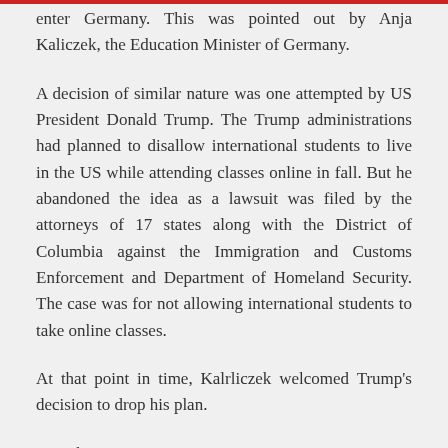enter Germany. This was pointed out by Anja Kaliczek, the Education Minister of Germany.
A decision of similar nature was one attempted by US President Donald Trump. The Trump administrations had planned to disallow international students to live in the US while attending classes online in fall. But he abandoned the idea as a lawsuit was filed by the attorneys of 17 states along with the District of Columbia against the Immigration and Customs Enforcement and Department of Homeland Security. The case was for not allowing international students to take online classes.
At that point in time, Kalrliczek welcomed Trump's decision to drop his plan.
For the winter semester, German universities are planning to offer a mix of physical and online classes. For these